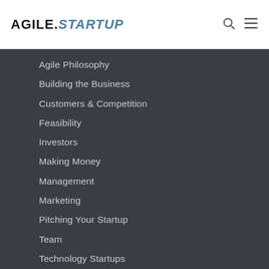AGILE.STARTUP
Agile Philosophy
Building the Business
Customers & Competition
Feasibility
Investors
Making Money
Management
Marketing
Pitching Your Startup
Team
Technology Startups
What to Know Before You Go